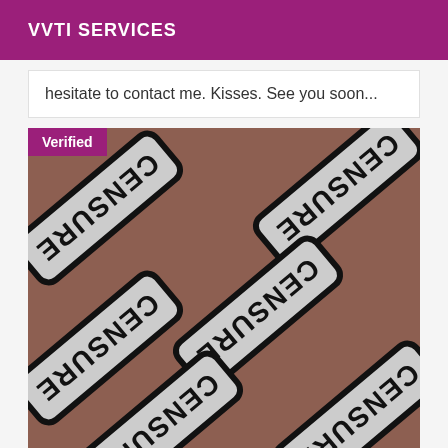VVTI SERVICES
hesitate to contact me. Kisses. See you soon...
[Figure (photo): A censored photo overlaid with multiple 'CENSURE' stickers/stamps rotated at various angles covering the image content. A 'Verified' badge appears in the top-left corner.]